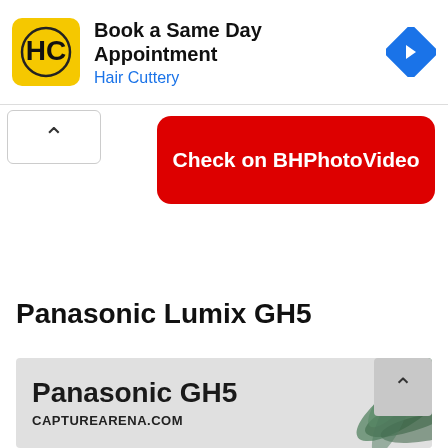[Figure (screenshot): Advertisement banner for Hair Cuttery with yellow HC logo, text 'Book a Same Day Appointment / Hair Cuttery', and a blue navigation diamond icon on the right]
[Figure (screenshot): A red rounded button with white bold text 'Check on BHPhotoVideo', with a white caret-up button on the left and ad controls (play/close icons)]
Panasonic Lumix GH5
[Figure (screenshot): Bottom advertisement banner for Panasonic GH5 from capturearena.com with large bold text 'Panasonic GH5' and 'CAPTUREARENA.COM', with palm leaf decoration on the right and a scroll-up button overlaid]